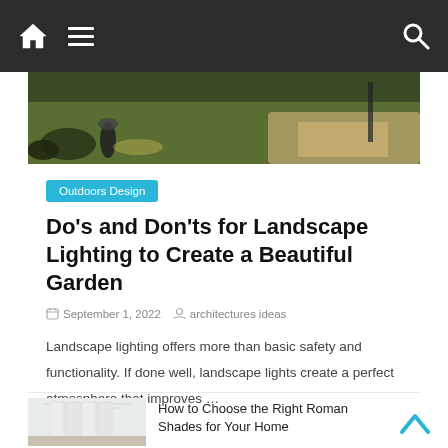Navigation bar with home icon, menu icon, and search icon
[Figure (photo): Outdoor landscape lighting scene showing a garden with grass, stone path, and spotlight fixtures at dusk]
Outdoors Design
Do's and Don'ts for Landscape Lighting to Create a Beautiful Garden
September 1, 2022  architectures ideas
Landscape lighting offers more than basic safety and functionality. If done well, landscape lights create a perfect atmosphere that improves ...
[Figure (photo): Interior room with Roman shades on windows, bright lighting visible]
How to Choose the Right Roman Shades for Your Home